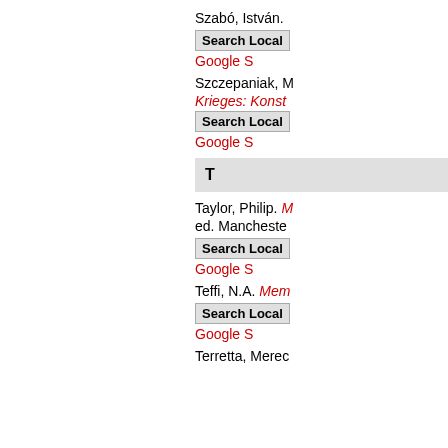Szabó, István.
Search Local
Google S
Szczepaniak, M
Krieges: Konst
Search Local
Google S
T
Taylor, Philip. M
ed. Mancheste
Search Local
Google S
Teffi, N.A. Mem
Search Local
Google S
Terretta, Merec